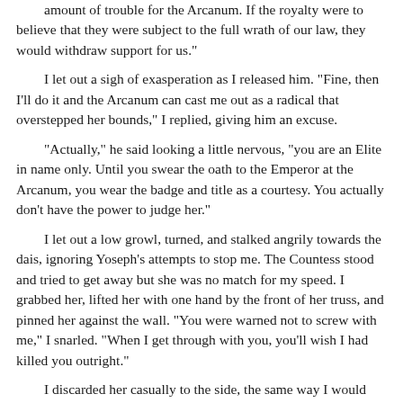amount of trouble for the Arcanum. If the royalty were to believe that they were subject to the full wrath of our law, they would withdraw support for us."
I let out a sigh of exasperation as I released him. "Fine, then I'll do it and the Arcanum can cast me out as a radical that overstepped her bounds," I replied, giving him an excuse.
"Actually," he said looking a little nervous, "you are an Elite in name only. Until you swear the oath to the Emperor at the Arcanum, you wear the badge and title as a courtesy. You actually don't have the power to judge her."
I let out a low growl, turned, and stalked angrily towards the dais, ignoring Yoseph's attempts to stop me. The Countess stood and tried to get away but she was no match for my speed. I grabbed her, lifted her with one hand by the front of her truss, and pinned her against the wall. "You were warned not to screw with me," I snarled. "When I get through with you, you'll wish I had killed you outright."
I discarded her casually to the side, the same way I would any other piece of trash, and walked purposefully towards the door. I hoped that my attitude would keep people away from me, but it wasn't to be.